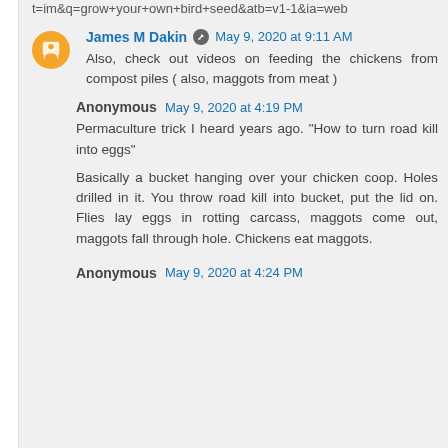t=im&q=grow+your+own+bird+seed&atb=v1-1&ia=web
James M Dakin  May 9, 2020 at 9:11 AM
Also, check out videos on feeding the chickens from compost piles ( also, maggots from meat )
Anonymous  May 9, 2020 at 4:19 PM
Permaculture trick I heard years ago. "How to turn road kill into eggs"

Basically a bucket hanging over your chicken coop. Holes drilled in it. You throw road kill into bucket, put the lid on. Flies lay eggs in rotting carcass, maggots come out, maggots fall through hole. Chickens eat maggots.
Anonymous  May 9, 2020 at 4:24 PM